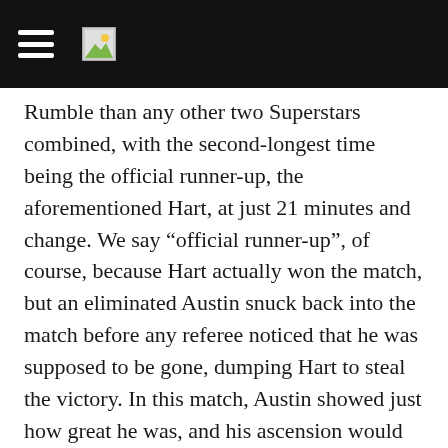[navigation bar with hamburger menu and image icon]
Rumble than any other two Superstars combined, with the second-longest time being the official runner-up, the aforementioned Hart, at just 21 minutes and change. We say “official runner-up”, of course, because Hart actually won the match, but an eliminated Austin snuck back into the match before any referee noticed that he was supposed to be gone, dumping Hart to steal the victory. In this match, Austin showed just how great he was, and his ascension would skyrocket from there. http://wallsofjerichoholic.blogspot.ca/2013_12_01_archiv Source: wallsofjerichoholic.blogspot.ca